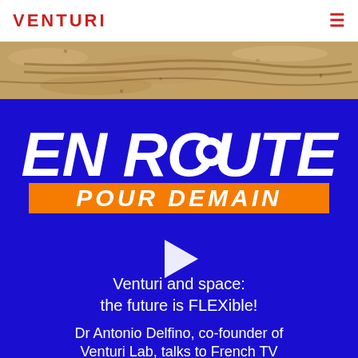VENTURI
[Figure (photo): Close-up photo of sandy/gravelly terrain with tire tracks, serving as a decorative banner image.]
[Figure (logo): EN ROUTE POUR DEMAIN logo on a blue background. 'EN ROUTE' in large white bold italic letters with a map pin replacing the 'O' in ROUTE. 'POUR DEMAIN' in white bold italic letters on an orange rectangular banner beneath.]
Venturi and space: the future is FLEXible!
Dr Antonio Delfino, co-founder of Venturi Lab, talks to French TV